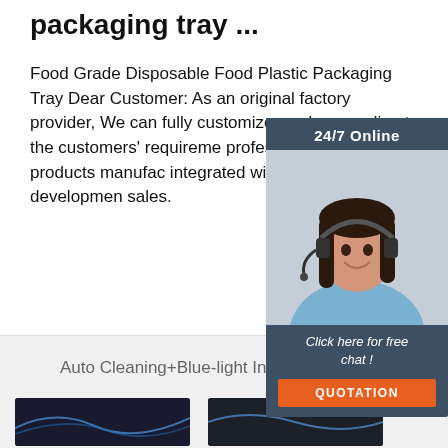packaging tray ...
Food Grade Disposable Food Plastic Packaging Tray Dear Customer: As an original factory provider, We can fully customize products according to the customers' requirements, professional plastic products manufacturer integrated with research, development, and sales.
[Figure (illustration): 24/7 Online chat widget with a customer service representative woman wearing a headset. Dark blue/slate background. Includes 'Click here for free chat!' text and an orange QUOTATION button.]
[Figure (other): Orange 'Get Price' button]
[Figure (other): Bottom section with light gray background showing 'Auto Cleaning+Blue-light Inhibited' text with a TOP badge icon in orange, and two product device images below.]